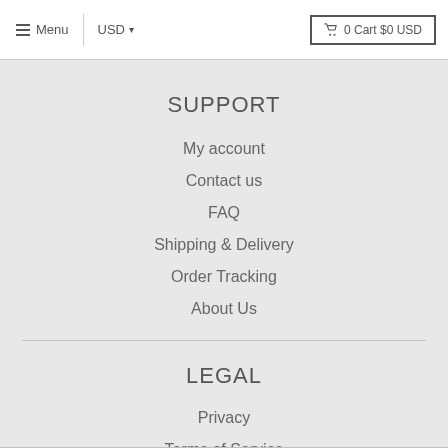☰ Menu  |  USD ▾  |  🛒 0 Cart $0 USD
SUPPORT
My account
Contact us
FAQ
Shipping & Delivery
Order Tracking
About Us
LEGAL
Privacy
Terms of Service
Shipping Policy
Warranty & Return Policy